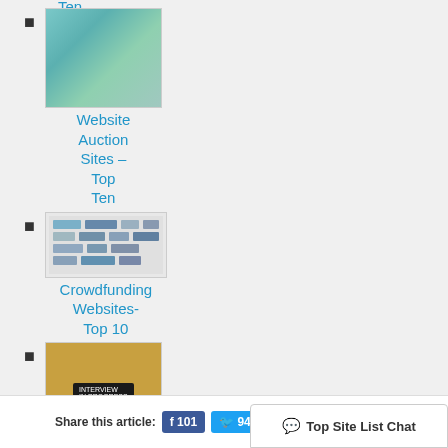Website Auction Sites – Top Ten
[Figure (photo): Teal/blue abstract image thumbnail for Website Auction Sites article]
Crowdfunding Websites- Top 10
[Figure (photo): Grid of logos thumbnail for Crowdfunding Websites article]
Interview Prep Sites- Top Ten
[Figure (photo): Yellow background with Interview in Progress sign thumbnail]
Share this article:
101
94
Top Site List Chat